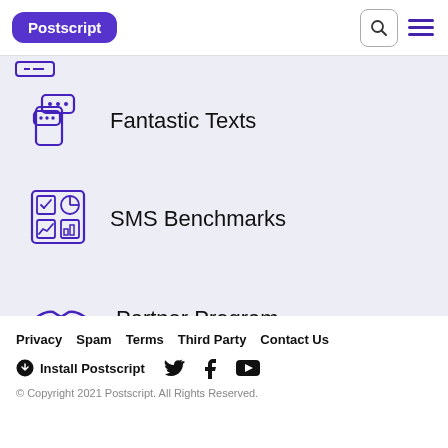Postscript
Fantastic Texts
SMS Benchmarks
Partner Program
Privacy   Spam   Terms   Third Party   Contact Us
Install Postscript
© Copyright 2021 Postscript. All Rights Reserved.